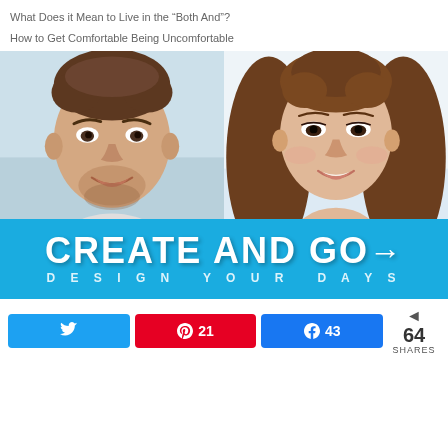What Does it Mean to Live in the “Both And”?
How to Get Comfortable Being Uncomfortable
[Figure (photo): Two headshots side by side: a man with brown hair and beard (left) and a woman with long brown hair (right), both smiling. Below them is the Create and Go logo on a teal/blue background with text 'CREATE AND GO' and subtitle 'DESIGN YOUR DAYS'.]
21  43  64 SHARES